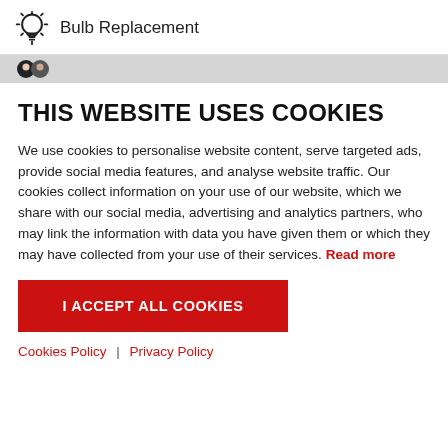Bulb Replacement
THIS WEBSITE USES COOKIES
We use cookies to personalise website content, serve targeted ads, provide social media features, and analyse website traffic. Our cookies collect information on your use of our website, which we share with our social media, advertising and analytics partners, who may link the information with data you have given them or which they may have collected from your use of their services. Read more
I ACCEPT ALL COOKIES
Cookies Policy | Privacy Policy